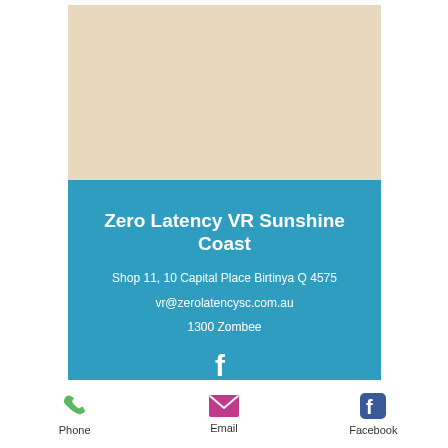[Figure (illustration): Beige/cream colored rectangular block at the top of the card]
Zero Latency VR Sunshine Coast
Shop 11, 10 Capital Place Birtinya Q 4575
vr@zerolatencysc.com.au
1300 Zombee
[Figure (logo): Facebook 'f' icon in white on blue background]
[Figure (infographic): Footer bar with Phone (green phone icon), Email (pink envelope icon), and Facebook (blue FB icon) with labels]